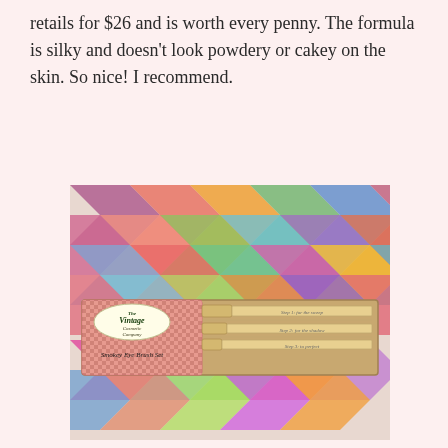retails for $26 and is worth every penny. The formula is silky and doesn't look powdery or cakey on the skin. So nice! I recommend.
[Figure (photo): Photo of The Vintage Cosmetic Company Smokey Eye Brush Set packaging placed on a colorful chevron-patterned background. The packaging shows three makeup brushes with wooden handles in a red gingham bordered box.]